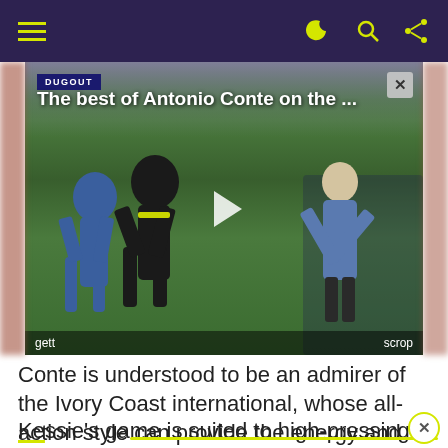[Figure (screenshot): Video player showing 'The best of Antonio Conte on the ...' with soccer players on a green pitch, a play button in the center, DUGOUT branding top-left, close button top-right, and credits 'gett' and 'scrop' at the bottom.]
Conte is understood to be an admirer of the Ivory Coast international, whose all-action style can provide the energy and endeavour the Italian seeks in the engine room of his sides.
Kessie's game is suited to high-pressing